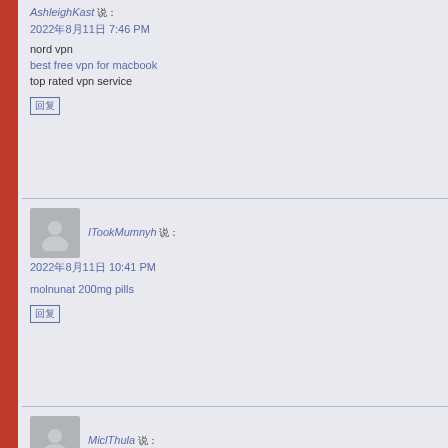AshleighKast 说: 2022年8月11日 7:46 PM
nord vpn
best free vpn for macbook
top rated vpn service
回复
ITookMumnyh 说: 2022年8月11日 10:41 PM
molnunat 200mg pills
回复
MiclThula 说: